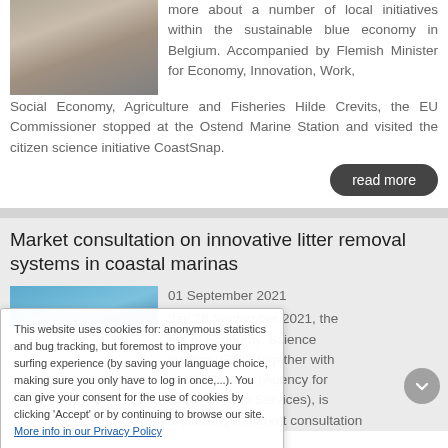[Figure (photo): People walking in an indoor space, one person with crutches]
more about a number of local initiatives within the sustainable blue economy in Belgium. Accompanied by Flemish Minister for Economy, Innovation, Work, Social Economy, Agriculture and Fisheries Hilde Crevits, the EU Commissioner stopped at the Ostend Marine Station and visited the citizen science initiative CoastSnap.
read more
Market consultation on innovative litter removal systems in coastal marinas
[Figure (photo): Blue coastal or marine image]
01 September 2021
day 28 September 2021, the ent of Economy, Science ovation (EWI), together with oastal Division (Agency for e and Coastal Services), is organising a market consultation
This website uses cookies for: anonymous statistics and bug tracking, but foremost to improve your surfing experience (by saving your language choice, making sure you only have to log in once,...). You can give your consent for the use of cookies by clicking 'Accept' or by continuing to browse our site. More info in our Privacy Policy
Accept